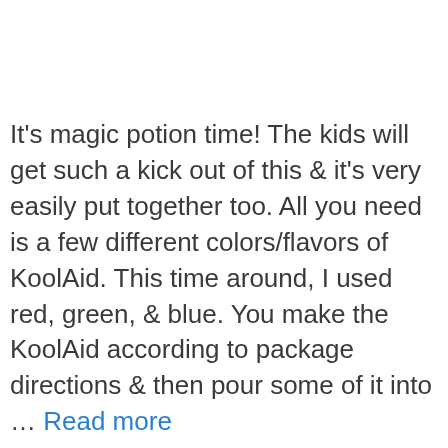It's magic potion time!  The kids will get such a kick out of this & it's very easily put together too.  All you need is a few different colors/flavors of KoolAid. This time around, I used red, green, & blue.  You make the KoolAid according to package directions & then pour some of it into … Read more